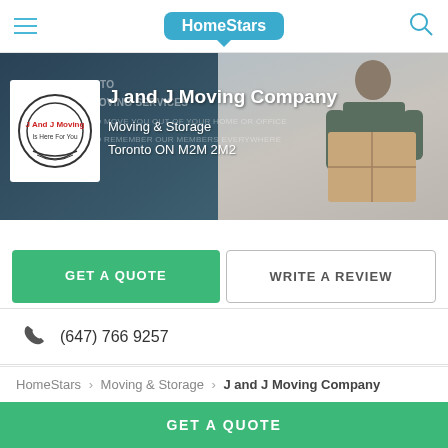HomeStars
[Figure (screenshot): Hero banner with J and J Moving Company logo, company name, category and location overlaid on a background image of a man carrying boxes]
J and J Moving Company
Moving & Storage
Toronto ON M2M 2M2
GET A QUOTE
WRITE A REVIEW
(647) 766 9257
Website
HomeStars > Moving & Storage > J and J Moving Company
GET A QUOTE